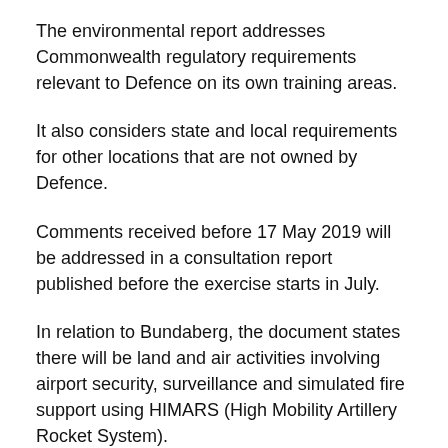The environmental report addresses Commonwealth regulatory requirements relevant to Defence on its own training areas.
It also considers state and local requirements for other locations that are not owned by Defence.
Comments received before 17 May 2019 will be addressed in a consultation report published before the exercise starts in July.
In relation to Bundaberg, the document states there will be land and air activities involving airport security, surveillance and simulated fire support using HIMARS (High Mobility Artillery Rocket System).
“Aircraft movements through Bundaberg Airport will likely